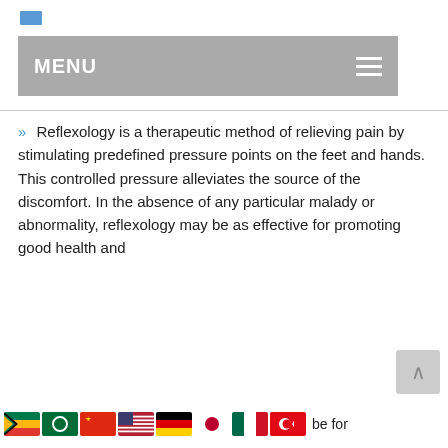MENU
» Reflexology is a therapeutic method of relieving pain by stimulating predefined pressure points on the feet and hands. This controlled pressure alleviates the source of the discomfort. In the absence of any particular malady or abnormality, reflexology may be as effective for promoting good health and be for
for pre- ing - be for